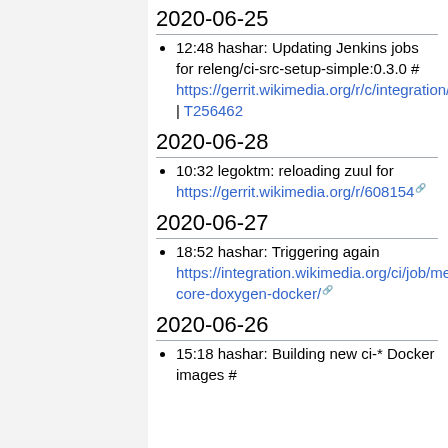2020-06-25
12:48 hashar: Updating Jenkins jobs for releng/ci-src-setup-simple:0.3.0 # https://gerrit.wikimedia.org/r/c/integration/config/+/608069 | T256462
2020-06-28
10:32 legoktm: reloading zuul for https://gerrit.wikimedia.org/r/608154
2020-06-27
18:52 hashar: Triggering again https://integration.wikimedia.org/ci/job/mediawiki-core-doxygen-docker/
2020-06-26
15:18 hashar: Building new ci-* Docker images #